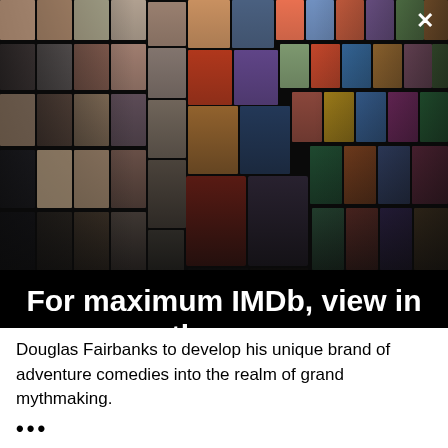[Figure (illustration): IMDb app promotional mosaic hero image showing a grid of celebrity headshots and movie posters arranged in a perspective/3D fan layout on a black background, with an X close button in the top right corner.]
For maximum IMDb, view in the app
Get the app
Douglas Fairbanks to develop his unique brand of adventure comedies into the realm of grand mythmaking.
•••